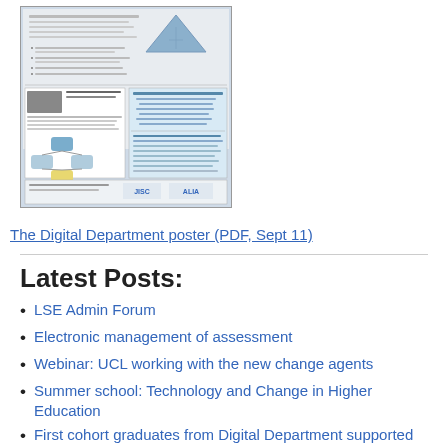[Figure (illustration): A thumbnail of The Digital Department poster showing a pyramid diagram, flowchart, and logos for JISC and ALIA]
The Digital Department poster (PDF, Sept 11)
Latest Posts:
LSE Admin Forum
Electronic management of assessment
Webinar: UCL working with the new change agents
Summer school: Technology and Change in Higher Education
First cohort graduates from Digital Department supported